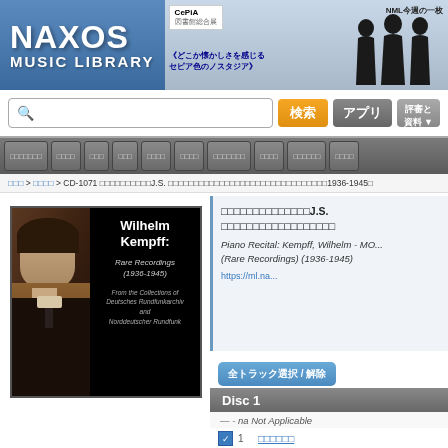NAXOS MUSIC LIBRARY
[Figure (screenshot): Naxos Music Library website interface with logo, search bar, navigation, and album page for Wilhelm Kempff Rare Recordings (1936-1945)]
Piano Recital: Kempff, Wilhelm - MO... (Rare Recordings) (1936-1945)
https://ml.na...
全トラック選択 / 解除
Disc 1
— - na Not Applicable
1 [Japanese text]